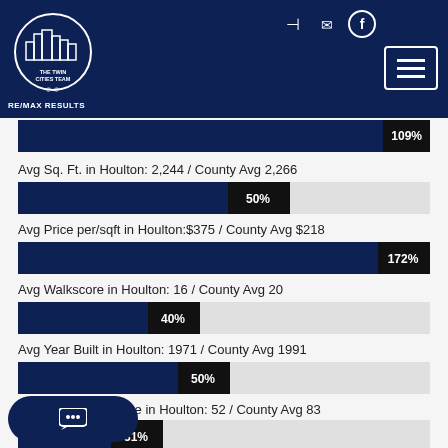[Figure (logo): RE/MAX Results - The Twin Cities Team logo in circular badge on dark navy header]
[Figure (bar-chart): Avg Sq. Ft. in Houlton: 2,244 / County Avg 2,266]
[Figure (bar-chart): Avg Price per/sqft in Houlton:$375 / County Avg $218]
[Figure (bar-chart): Avg Walkscore in Houlton: 16 / County Avg 20]
[Figure (bar-chart): Avg Year Built in Houlton: 1971 / County Avg 1991]
[Figure (bar-chart): Avg Days on Website in Houlton: 52 / County Avg 83]